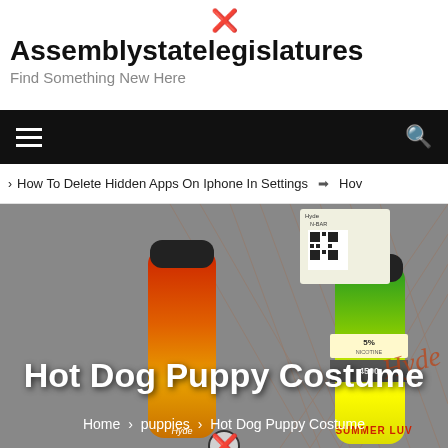Assemblystatelegislatures
Find Something New Here
How To Delete Hidden Apps On Iphone In Settings  ❯  Hov
[Figure (photo): Product photo of Hyde N-Bar vape devices (Summer Luv flavor) with 5% nicotine and 4500 puff count, shown in red/orange/green gradient colors against gray background]
Hot Dog Puppy Costume
Home > puppies > Hot Dog Puppy Costume